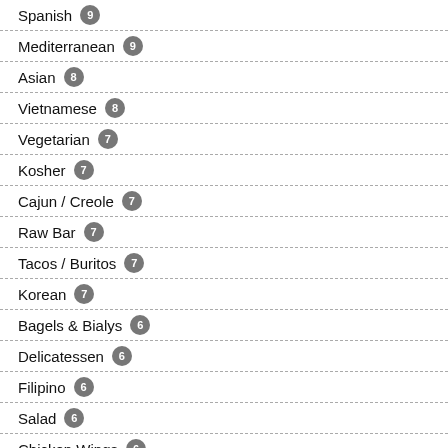Spanish 9
Mediterranean 9
Asian 8
Vietnamese 8
Vegetarian 7
Kosher 7
Cajun / Creole 7
Raw Bar 7
Tacos / Buritos 7
Korean 7
Bagels & Bialys 6
Delicatessen 6
Filipino 6
Salad 6
Chicken Wings 6
Diner 5
Latin American 5
Caribbean 5
Greek 5